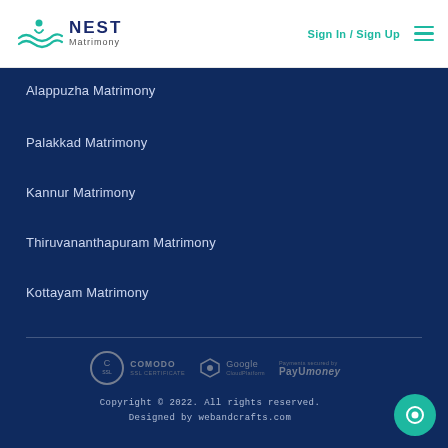[Figure (logo): Nest Matrimony logo with teal wave/person icon and dark blue NEST Matrimony text]
Sign In / Sign Up
Alappuzha Matrimony
Palakkad Matrimony
Kannur Matrimony
Thiruvananthapuram Matrimony
Kottayam Matrimony
[Figure (logo): Comodo SSL Certificate badge in grey/white]
[Figure (logo): Google Cloud Platform badge in grey/white]
[Figure (logo): Payments secured by PayUmoney badge in grey/white]
Copyright © 2022. All rights reserved.
Designed by webandcrafts.com